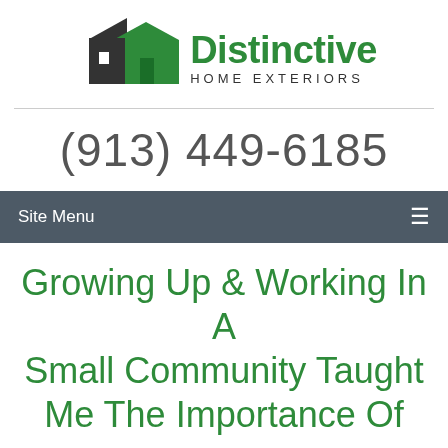[Figure (logo): Distinctive Home Exteriors logo with two house silhouettes (dark grey and green) and company name]
(913) 449-6185
Site Menu
Growing Up & Working In A Small Community Taught Me The Importance Of